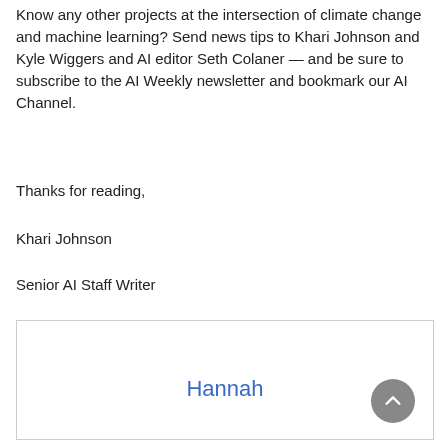Know any other projects at the intersection of climate change and machine learning? Send news tips to Khari Johnson and Kyle Wiggers and AI editor Seth Colaner — and be sure to subscribe to the AI Weekly newsletter and bookmark our AI Channel.
Thanks for reading,
Khari Johnson
Senior AI Staff Writer
[Figure (other): A bordered box containing a blue hyperlink 'Hannah' and a grey circular scroll-to-top button in the bottom right corner.]